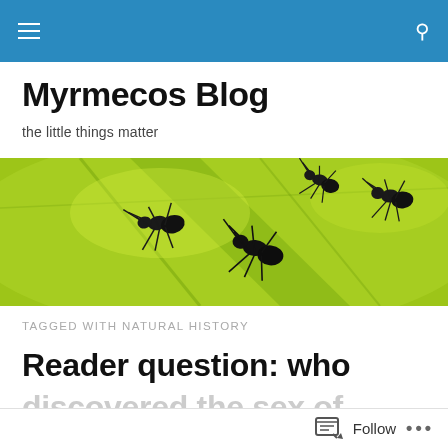Myrmecos Blog navigation bar
Myrmecos Blog
the little things matter
[Figure (photo): Close-up macro photo of multiple ants (silhouettes) on a bright green leaf surface, backlit with yellow-green light showing leaf veins and texture]
TAGGED WITH NATURAL HISTORY
Reader question: who discovered the sex of...
Follow